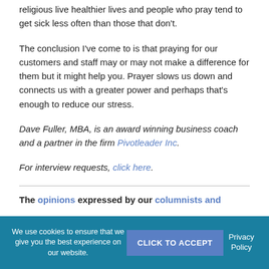religious live healthier lives and people who pray tend to get sick less often than those that don't.
The conclusion I've come to is that praying for our customers and staff may or may not make a difference for them but it might help you. Prayer slows us down and connects us with a greater power and perhaps that's enough to reduce our stress.
Dave Fuller, MBA, is an award winning business coach and a partner in the firm Pivotleader Inc.
For interview requests, click here.
The opinions expressed by our columnists and
We use cookies to ensure that we give you the best experience on our website.
CLICK TO ACCEPT
Privacy Policy